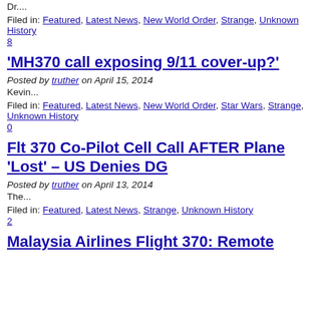Dr....
Filed in: Featured, Latest News, New World Order, Strange, Unknown History
8
'MH370 call exposing 9/11 cover-up?'
Posted by truther on April 15, 2014
Kevin...
Filed in: Featured, Latest News, New World Order, Star Wars, Strange, Unknown History
0
Flt 370 Co-Pilot Cell Call AFTER Plane 'Lost' – US Denies DG
Posted by truther on April 13, 2014
The...
Filed in: Featured, Latest News, Strange, Unknown History
2
Malaysia Airlines Flight 370: Remote